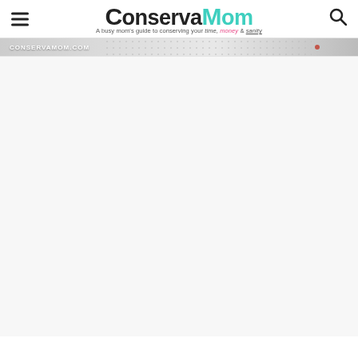ConservaMom — A busy mom's guide to conserving your time, money & sanity
[Figure (screenshot): Partial banner image with text 'CONSERVAMOM.COM' and a dotted pattern background, partially visible at top of content area]
[Figure (photo): Large light gray/white content placeholder area below the banner strip, representing a mostly-loaded or blank content section of the webpage]